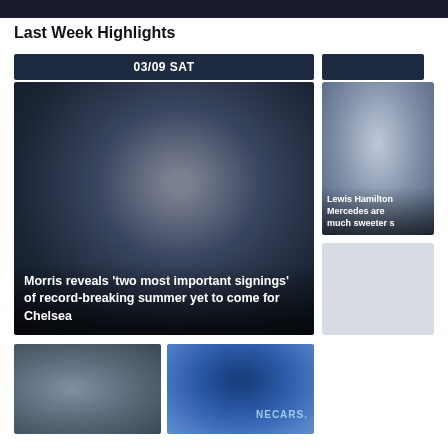Last Week Highlights
03/09 SAT
[Figure (photo): Man wearing a black Nike beanie hat and dark jacket, looking upward, Chelsea FC related context]
Morris reveals 'two most important signings' of record-breaking summer yet to come for Chelsea
[Figure (photo): Lewis Hamilton partial photo with text overlay: Lewis Hamilton Mercedes are much sweeter]
[Figure (photo): Two bottom thumbnail images - person in sunglasses on left, blue scarf with NECARS text on right]